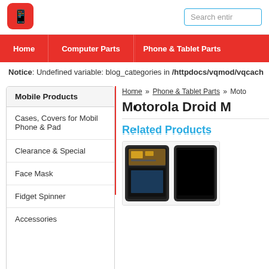[Figure (logo): Red rounded square logo with white phone/hand icon]
Search entir
Home  Computer Parts  Phone & Tablet Parts
Notice: Undefined variable: blog_categories in /httpdocs/vqmod/vqcach
Home » Phone & Tablet Parts » Moto
Motorola Droid M
Mobile Products
Cases, Covers for Mobil Phone & Pad
Clearance & Special
Face Mask
Fidget Spinner
Accessories
Related Products
[Figure (photo): Product photo of Motorola Droid phone screen assembly showing front and back]